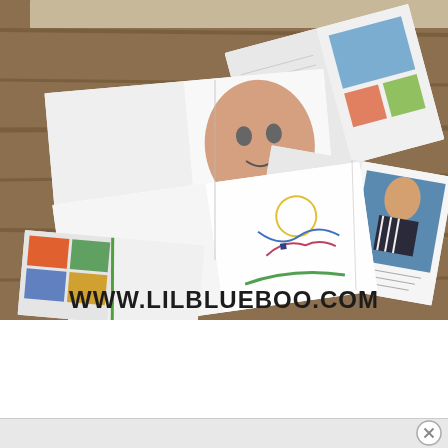[Figure (photo): Photo of multiple open photo books and scrapbooks spread on a wooden table surface, showing pages with children's photos, drawings, and colorful images. Books are overlapping and fanned open showing various pages.]
WWW.LILBLUEBOO.COM